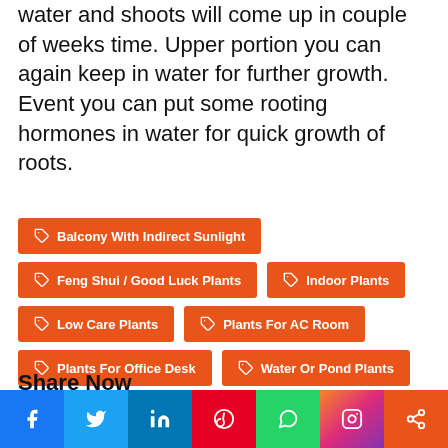water and shoots will come up in couple of weeks time. Upper portion you can again keep in water for further growth. Event you can put some rooting hormones in water for quick growth of roots.
Balcony With Indirect Sunlight
Feng Shui / Good Luck Plants
Indoor Plants
Low Care Plants
Plants For AC Room
Plants For Office Desk
Water Or Pond Plants
Share Now